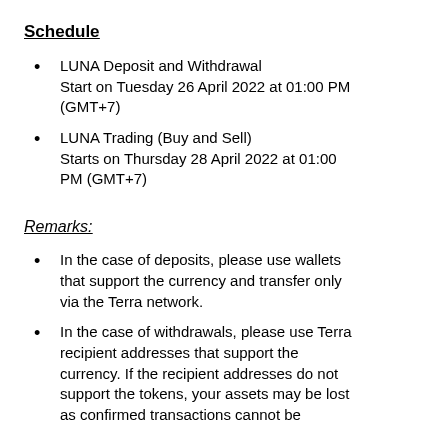Schedule
LUNA Deposit and Withdrawal Start on Tuesday 26 April 2022 at 01:00 PM (GMT+7)
LUNA Trading (Buy and Sell) Starts on Thursday 28 April 2022 at 01:00 PM (GMT+7)
Remarks:
In the case of deposits, please use wallets that support the currency and transfer only via the Terra network.
In the case of withdrawals, please use Terra recipient addresses that support the currency. If the recipient addresses do not support the tokens, your assets may be lost as confirmed transactions cannot be